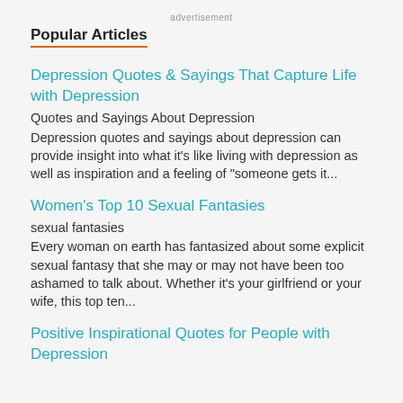advertisement
Popular Articles
Depression Quotes & Sayings That Capture Life with Depression
Quotes and Sayings About Depression
Depression quotes and sayings about depression can provide insight into what it's like living with depression as well as inspiration and a feeling of "someone gets it...
Women's Top 10 Sexual Fantasies
sexual fantasies
Every woman on earth has fantasized about some explicit sexual fantasy that she may or may not have been too ashamed to talk about. Whether it's your girlfriend or your wife, this top ten...
Positive Inspirational Quotes for People with Depression